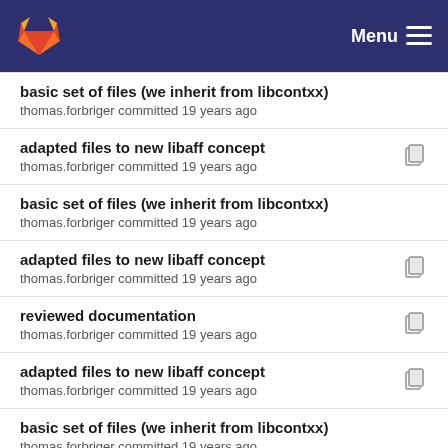GitLab — Menu
basic set of files (we inherit from libcontxx)
thomas.forbriger committed 19 years ago
adapted files to new libaff concept
thomas.forbriger committed 19 years ago
basic set of files (we inherit from libcontxx)
thomas.forbriger committed 19 years ago
adapted files to new libaff concept
thomas.forbriger committed 19 years ago
reviewed documentation
thomas.forbriger committed 19 years ago
adapted files to new libaff concept
thomas.forbriger committed 19 years ago
basic set of files (we inherit from libcontxx)
thomas.forbriger committed 19 years ago
Imprint